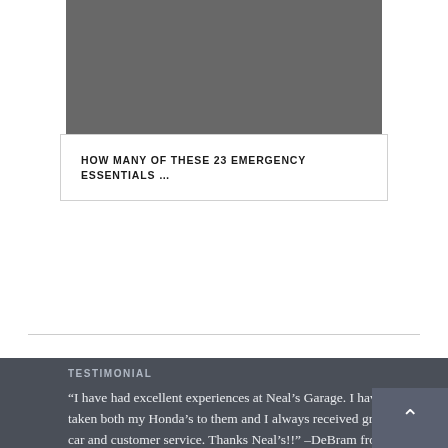[Figure (photo): Dark gray image placeholder at top of article card]
HOW MANY OF THESE 23 EMERGENCY ESSENTIALS …
TESTIMONIAL
“I have had excellent experiences at Neal’s Garage. I have taken both my Honda’s to them and I always received great car and customer service. Thanks Neal’s!!” –DeBram from Durham